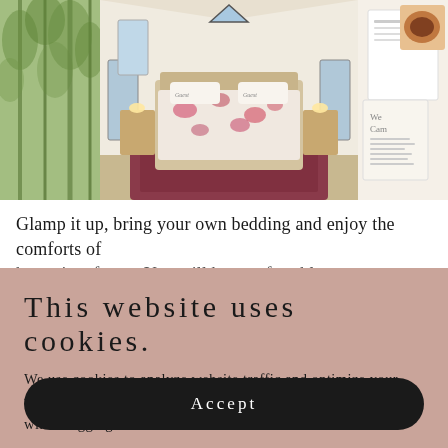[Figure (photo): Three photos side by side: left shows green forest trees, center shows interior of glamping tent with floral bedding and decorative rug, right shows a partial view of papers/documents]
Glamp it up, bring your own bedding and enjoy the comforts of home in a forest. You will be comfortable...
This website uses cookies.
We use cookies to analyze website traffic and optimize your website experience. By accepting our use of cookies, your data will be aggregated with all other user data.
Accept